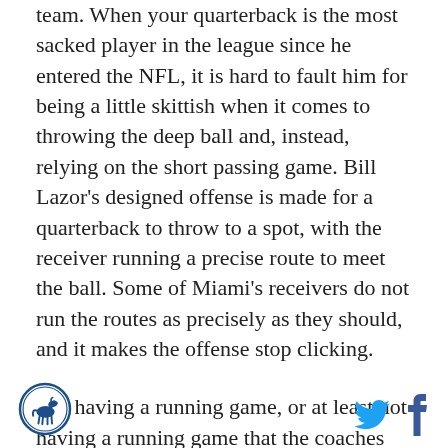team. When your quarterback is the most sacked player in the league since he entered the NFL, it is hard to fault him for being a little skittish when it comes to throwing the deep ball and, instead, relying on the short passing game. Bill Lazor's designed offense is made for a quarterback to throw to a spot, with the receiver running a precise route to meet the ball. Some of Miami's receivers do not run the routes as precisely as they should, and it makes the offense stop clicking.
Not having a running game, or at least not having a running game that the coaches will use throughout a contest, does not help. Defenses just tee off on Tannehill because there is no threat of Miller running the ball. Add in that Lazor, for whatever reason,
[Figure (logo): Circular logo with horse/mustang icon and blue border]